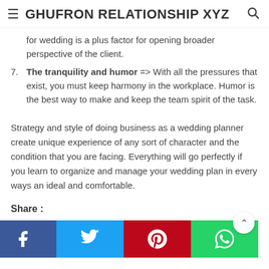GHUFRON RELATIONSHIP XYZ
for wedding is a plus factor for opening broader perspective of the client.
7. The tranquility and humor => With all the pressures that exist, you must keep harmony in the workplace. Humor is the best way to make and keep the team spirit of the task.
Strategy and style of doing business as a wedding planner create unique experience of any sort of character and the condition that you are facing. Everything will go perfectly if you learn to organize and manage your wedding plan in every ways an ideal and comfortable.
Share :